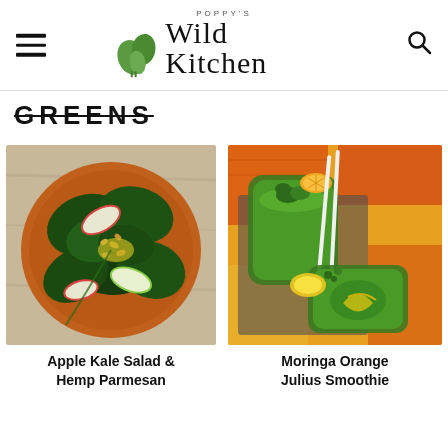POPPY'S Wild Kitchen
GREENS
[Figure (photo): Overhead view of a kale salad with apple slices and hemp seeds on a wooden plate]
Apple Kale Salad & Hemp Parmesan
[Figure (photo): Two glasses of green moringa orange Julius smoothie with lemon slices and herb garnish on a colorful background]
Moringa Orange Julius Smoothie